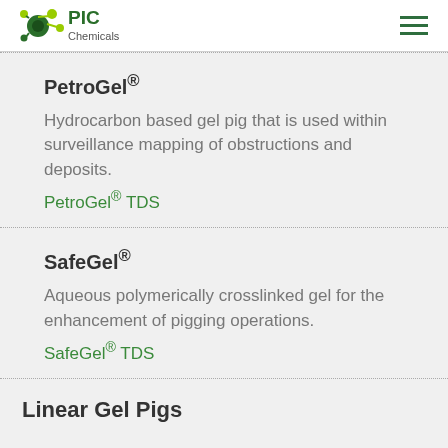PIC Chemicals
PetroGel®
Hydrocarbon based gel pig that is used within surveillance mapping of obstructions and deposits.
PetroGel® TDS
SafeGel®
Aqueous polymerically crosslinked gel for the enhancement of pigging operations.
SafeGel® TDS
Linear Gel Pigs